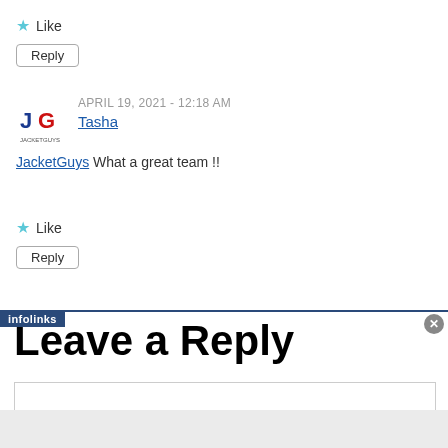Like
Reply
APRIL 19, 2021 - 12:18 AM
Tasha
JacketGuys What a great team !!
Like
Reply
Leave a Reply